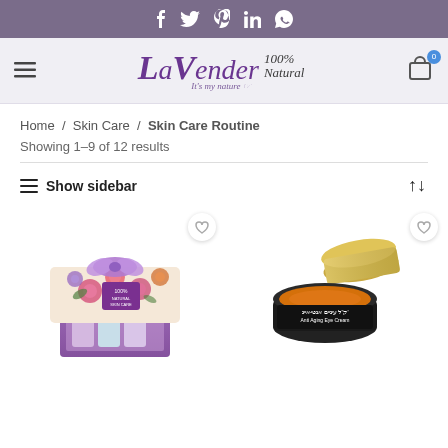Social media icons: Facebook, Twitter, Pinterest, LinkedIn, WhatsApp
[Figure (logo): Lavender 'It's my nature' logo with 100% Natural text and shopping cart icon with badge 0]
Home / Skin Care / Skin Care Routine
Showing 1–9 of 12 results
≡ Show sidebar
[Figure (photo): Floral gift box set with small bottles tied with purple ribbon, with heart wishlist icon]
[Figure (photo): Black and gold jar of Anti Aging Eye Cream with orange cream visible, with heart wishlist icon]